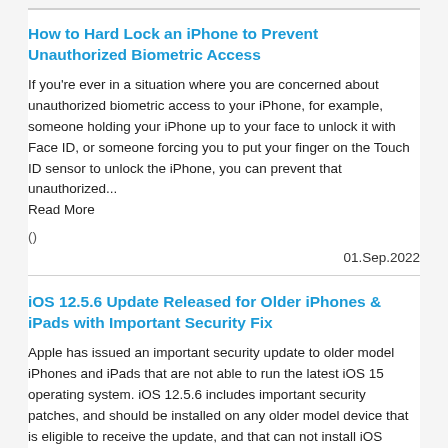How to Hard Lock an iPhone to Prevent Unauthorized Biometric Access
If you're ever in a situation where you are concerned about unauthorized biometric access to your iPhone, for example, someone holding your iPhone up to your face to unlock it with Face ID, or someone forcing you to put your finger on the Touch ID sensor to unlock the iPhone, you can prevent that unauthorized... Read More
()
01.Sep.2022
iOS 12.5.6 Update Released for Older iPhones & iPads with Important Security Fix
Apple has issued an important security update to older model iPhones and iPads that are not able to run the latest iOS 15 operating system. iOS 12.5.6 includes important security patches, and should be installed on any older model device that is eligible to receive the update, and that can not install iOS 15.6.1, which... Read More